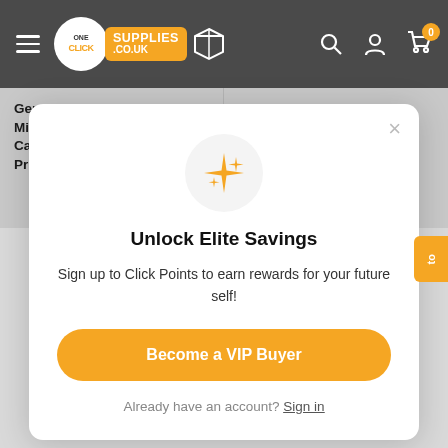[Figure (screenshot): OneClickSupplies.co.uk website header with hamburger menu, logo, search icon, account icon, and cart icon with badge showing 0]
Genuine Magenta Konica Minolta TN213M Toner Cartridge (AoD7352 Laser Printer Cartridge)
Genuine Yellow Ko... TN213Y Toner Cart... (AoD7252 Laser P... Cartridge)
Unlock Elite Savings
Sign up to Click Points to earn rewards for your future self!
Become a VIP Buyer
Already have an account? Sign in